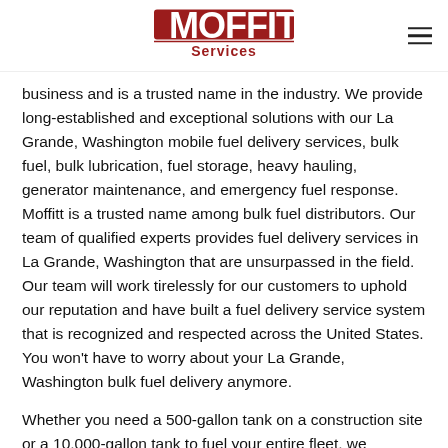Moffitt Services
business and is a trusted name in the industry. We provide long-established and exceptional solutions with our La Grande, Washington mobile fuel delivery services, bulk fuel, bulk lubrication, fuel storage, heavy hauling, generator maintenance, and emergency fuel response. Moffitt is a trusted name among bulk fuel distributors. Our team of qualified experts provides fuel delivery services in La Grande, Washington that are unsurpassed in the field. Our team will work tirelessly for our customers to uphold our reputation and have built a fuel delivery service system that is recognized and respected across the United States. You won't have to worry about your La Grande, Washington bulk fuel delivery anymore.
Whether you need a 500-gallon tank on a construction site or a 10,000-gallon tank to fuel your entire fleet, we welcome the opportunity to earn your fuel delivery